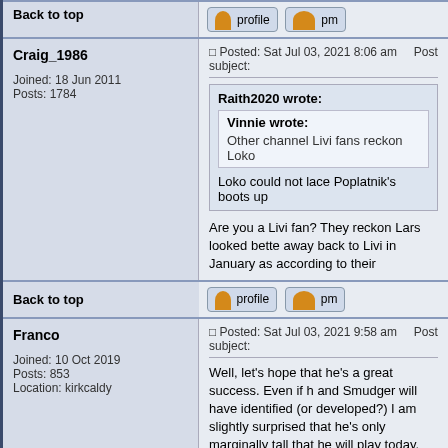Back to top
Craig_1986
Joined: 18 Jun 2011
Posts: 1784
Posted: Sat Jul 03, 2021 8:06 am    Post subject:
Raith2020 wrote:
Vinnie wrote:
Other channel Livi fans reckon Loko
Loko could not lace Poplatnik's boots up
Are you a Livi fan? They reckon Lars looked bette away back to Livi in January as according to their
Back to top
Franco
Joined: 10 Oct 2019
Posts: 853
Location: kirkcaldy
Posted: Sat Jul 03, 2021 9:58 am    Post subject:
Well, let's hope that he's a great success. Even if he and Smudger will have identified (or developed ?) I am slightly surprised that he's only marginally tall that he will play today.
Back to top